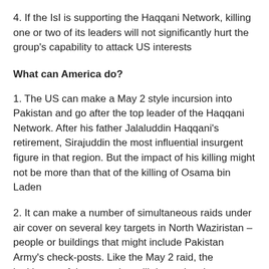4. If the IsI is supporting the Haqqani Network, killing one or two of its leaders will not significantly hurt the group's capability to attack US interests
What can America do?
1. The US can make a May 2 style incursion into Pakistan and go after the top leader of the Haqqani Network. After his father Jalaluddin Haqqani's retirement, Sirajuddin the most influential insurgent figure in that region. But the impact of his killing might not be more than that of the killing of Osama bin Laden
2. It can make a number of simultaneous raids under air cover on several key targets in North Waziristan – people or buildings that might include Pakistan Army's check-posts. Like the May 2 raid, the legitimacy of the operation will depend on how successful it is